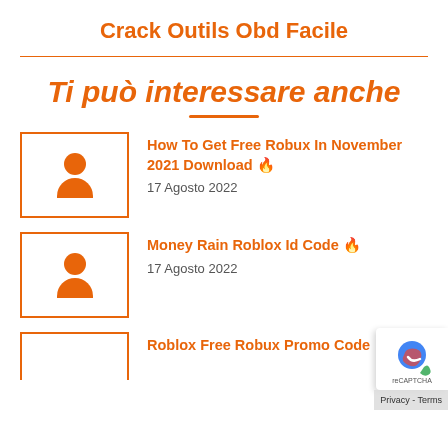Crack Outils Obd Facile
Ti può interessare anche
How To Get Free Robux In November 2021 Download 🔥
17 Agosto 2022
Money Rain Roblox Id Code 🔥
17 Agosto 2022
Roblox Free Robux Promo Code